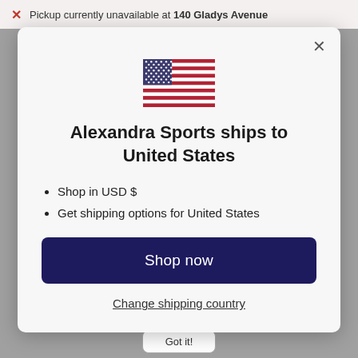Pickup currently unavailable at 140 Gladys Avenue
[Figure (illustration): US flag emoji/icon showing stars and stripes]
Alexandra Sports ships to United States
Shop in USD $
Get shipping options for United States
Shop now
Change shipping country
Got it!